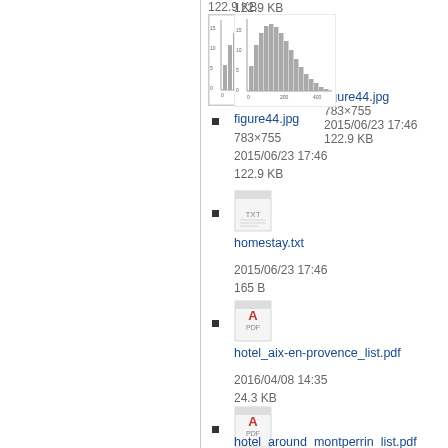[Figure (screenshot): File listing panel with icons and metadata for figure44.jpg, homestay.txt, hotel_aix-en-provence_list.pdf, and hotel_around_montperrin_list.pdf]
122.9 KB
figure44.jpg
783×755
2015/06/23 17:46
122.9 KB
homestay.txt
2015/06/23 17:46
165 B
hotel_aix-en-provence_list.pdf
2016/04/08 14:35
24.3 KB
hotel_around_montperrin_list.pdf